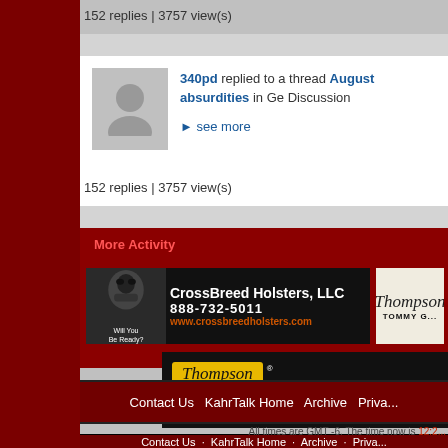152 replies | 3757 view(s)
340pd replied to a thread August absurdities in Ge Discussion
▶ see more
152 replies | 3757 view(s)
More Activity
[Figure (advertisement): CrossBreed Holsters LLC advertisement with masked figure, phone 888-732-5011 and website www.crossbreedholsters.com]
[Figure (advertisement): Thompson/TommyGunShop.com advertisement showing accessories]
Contact Us   KahrTalk Home   Archive   Priva...
All times are GMT -6. The time now is 12:2...
Powered by vBulletin® Version 4.2.5 Copyright © 2022 vBulletin Solutions Inc. All righ...
2009 KahrTalk.com. All Rights Reserve...